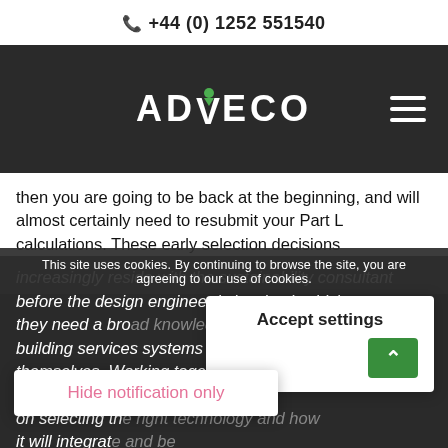+44 (0) 1252 551540
[Figure (logo): ADVECO company logo in white text on dark background]
then you are going to be back at the beginning, and will almost certainly need to resubmit your Part L calculations. These early selection decisions increasingly reside with the sustainability consultant before the design engineer is involved, which means they need a broad knowledge of building services systems beyond their own discipline themselves. Working together from the earliest application decisions, focusing on selecting the right technology and how it will integrate and be controlled to work with traditional technologies. It
This site uses cookies. By continuing to browse the site, you are agreeing to our use of cookies.
Accept settings
Hide notification only